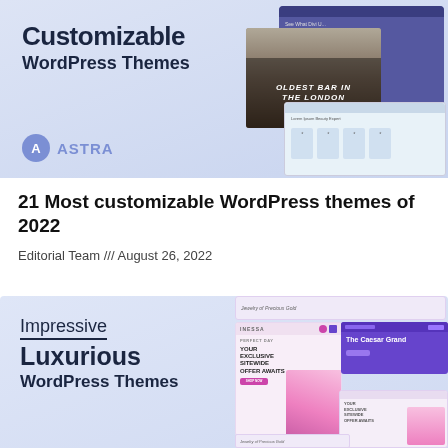[Figure (screenshot): Banner image showing 'Customizable WordPress Themes' with Astra logo on left side and website screenshot collage on right showing a pub/bar website and another site.]
21 Most customizable WordPress themes of 2022
Editorial Team /// August 26, 2022
[Figure (screenshot): Banner image showing 'Impressive Luxurious WordPress Themes' with pink perfume product website screenshots on the right side including INESSA theme and The Caesar Grand theme.]